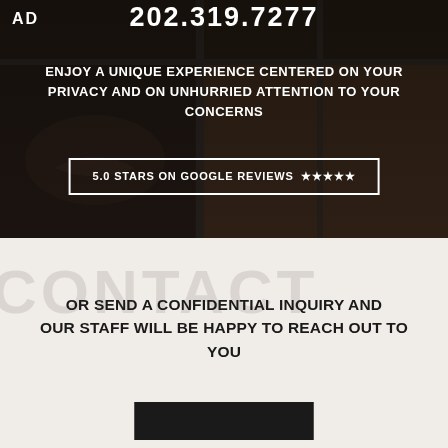[Figure (photo): Dark background image of a face/lips with decorative grid overlay, serving as hero section background]
202.319.7277
AD
ENJOY A UNIQUE EXPERIENCE CENTERED ON YOUR PRIVACY AND ON UNHURRIED ATTENTION TO YOUR CONCERNS
5.0 STARS ON GOOGLE REVIEWS ★★★★★
CONTACT
OR SEND A CONFIDENTIAL INQUIRY AND OUR STAFF WILL BE HAPPY TO REACH OUT TO YOU